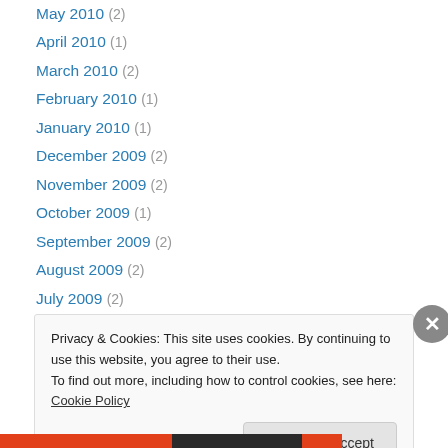May 2010 (2)
April 2010 (1)
March 2010 (2)
February 2010 (1)
January 2010 (1)
December 2009 (2)
November 2009 (2)
October 2009 (1)
September 2009 (2)
August 2009 (2)
July 2009 (2)
June 2009 (6)
May 2009 (6)
Privacy & Cookies: This site uses cookies. By continuing to use this website, you agree to their use. To find out more, including how to control cookies, see here: Cookie Policy
Close and accept